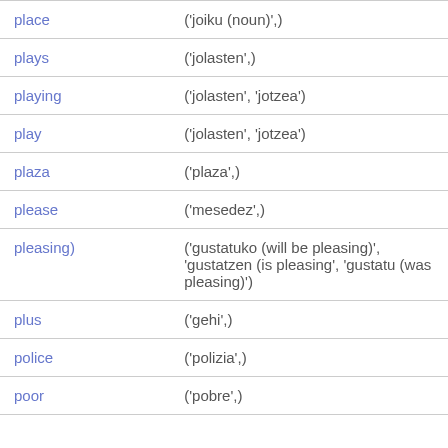| word | translation |
| --- | --- |
| place | ('joiku (noun)',) |
| plays | ('jolasten',) |
| playing | ('jolasten', 'jotzea') |
| play | ('jolasten', 'jotzea') |
| plaza | ('plaza',) |
| please | ('mesedez',) |
| pleasing) | ('gustatuko (will be pleasing)', 'gustatzen (is pleasing', 'gustatu (was pleasing)') |
| plus | ('gehi',) |
| police | ('polizia',) |
| poor | ('pobre',) |